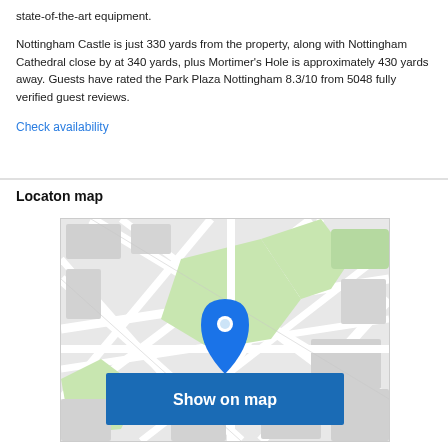state-of-the-art equipment.
Nottingham Castle is just 330 yards from the property, along with Nottingham Cathedral close by at 340 yards, plus Mortimer's Hole is approximately 430 yards away. Guests have rated the Park Plaza Nottingham 8.3/10 from 5048 fully verified guest reviews.
Check availability
Locaton map
[Figure (map): Street map showing location with a blue pin marker and a 'Show on map' button overlay]